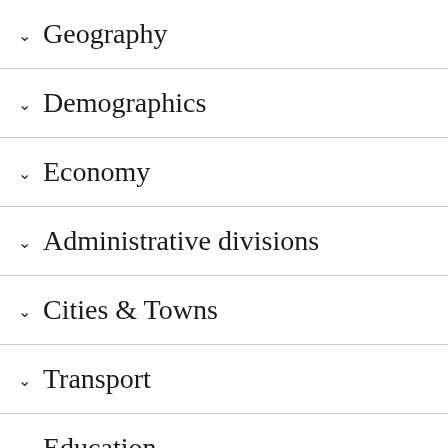Geography
Demographics
Economy
Administrative divisions
Cities & Towns
Transport
Education